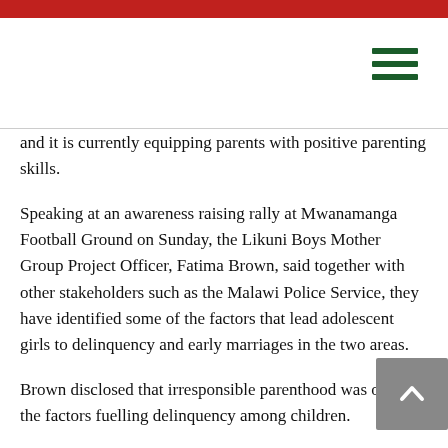and it is currently equipping parents with positive parenting skills.
Speaking at an awareness raising rally at Mwanamanga Football Ground on Sunday, the Likuni Boys Mother Group Project Officer, Fatima Brown, said together with other stakeholders such as the Malawi Police Service, they have identified some of the factors that lead adolescent girls to delinquency and early marriages in the two areas.
Brown disclosed that irresponsible parenthood was one of the factors fuelling delinquency among children.
“So, we want to work in collaboration with the parents and other stakeholders in finding the lasting solution to the factors that drive the children into these traps. We are also